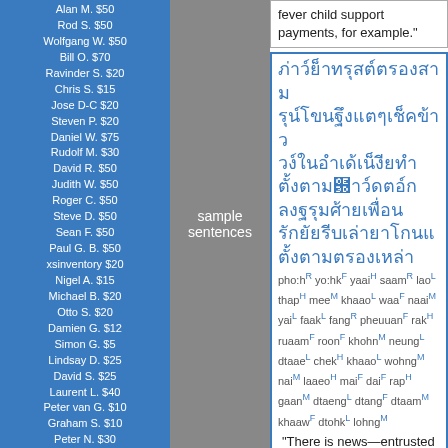Alan M. $50
Rod S. $50
Wolfgang W. $50
Bill O. $70
Ravinder S. $20
Chris S. $15
Jose D-C $20
Steven P. $20
Daniel W. $75
Rudolf M. $30
David R. $50
Judith W. $50
Roger C. $50
Steve D. $50
Sean F. $50
Paul G. B. $50
xsinventory $20
Nigel A. $15
Michael B. $20
Otto S. $20
Damien G. $12
Simon G. $5
Lindsay D. $25
David S. $25
Laurent L. $40
Peter van G. $10
Graham S. $10
Peter N. $30
James A. $10
Dmitry I. $10
Edward R. $50
Roderick S. $30
Mason S. $5
Henning E. $20
John F. $20
Daniel F. $10
Armand H. $20
Daniel S. $20
James McD. $20
Shane McC. $10
Roberto R. $50
sample sentences
fever child support payments, for example."
[Figure (other): Thai script text block in blue border]
pho:h^R yo:hk^F yaai^H saam^R lao^L thap^H mee^M khaao^L waa^F naai^M yai^L faak^L fang^R pheuuan^F rak^H ruaam^F roon^F khohn^M neung^L dtaae^L chek^H khaao^L wohng^M nai^M laaeo^H mai^F dai^F rap^H gaan^M dtaeng^L dtang^F dtaam^M khaaw^F dtohk^L lohng^M
"There is news—entrusted with a friend from his military academy class—that the big boss did transfer the three individuals to become high